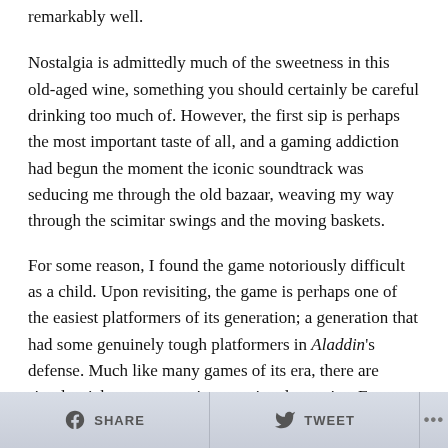remarkably well.
Nostalgia is admittedly much of the sweetness in this old-aged wine, something you should certainly be careful drinking too much of. However, the first sip is perhaps the most important taste of all, and a gaming addiction had begun the moment the iconic soundtrack was seducing me through the old bazaar, weaving my way through the scimitar swings and the moving baskets.
For some reason, I found the game notoriously difficult as a child. Upon revisiting, the game is perhaps one of the easiest platformers of its generation; a generation that had some genuinely tough platformers in Aladdin's defense. Much like many games of its era, there are simple tricks to overcoming certain adversaries. For instance, the first boss you encounter in Aladdin on
SHARE   TWEET   ...